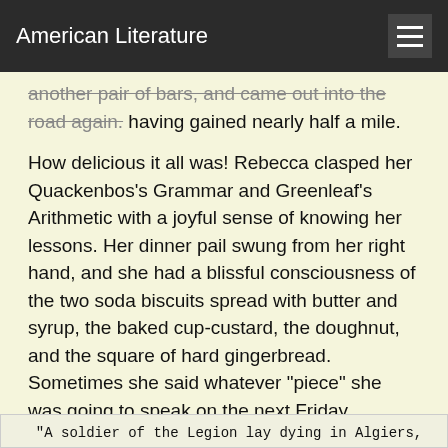American Literature
another pair of bars, and came out into the road again. having gained nearly half a mile.
How delicious it all was! Rebecca clasped her Quackenbos's Grammar and Greenleaf's Arithmetic with a joyful sense of knowing her lessons. Her dinner pail swung from her right hand, and she had a blissful consciousness of the two soda biscuits spread with butter and syrup, the baked cup-custard, the doughnut, and the square of hard gingerbread. Sometimes she said whatever "piece" she was going to speak on the next Friday afternoon.
"A soldier of the Legion lay dying in Algiers,